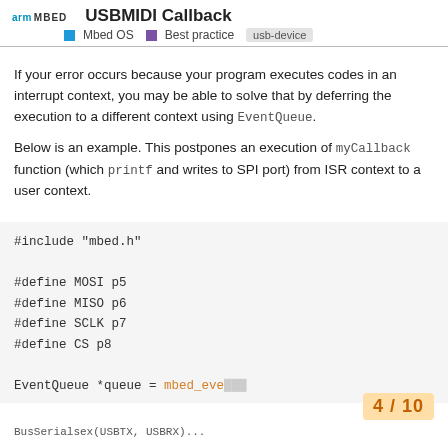arm MBED | USBMIDI Callback | Mbed OS | Best practice | usb-device
If your error occurs because your program executes codes in an interrupt context, you may be able to solve that by deferring the execution to a different context using EventQueue.
Below is an example. This postpones an execution of myCallback function (which printf and writes to SPI port) from ISR context to a user context.
#include "mbed.h"

#define MOSI p5
#define MISO p6
#define SCLK p7
#define CS p8

EventQueue *queue = mbed_eve...
4 / 10